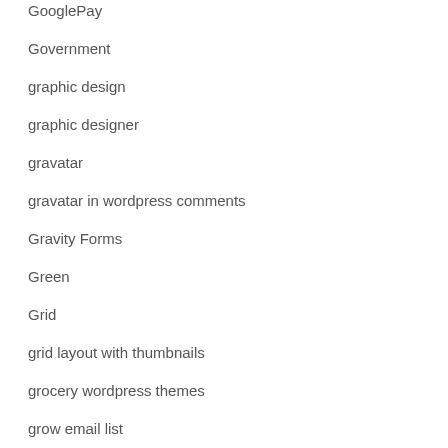GooglePay
Government
graphic design
graphic designer
gravatar
gravatar in wordpress comments
Gravity Forms
Green
Grid
grid layout with thumbnails
grocery wordpress themes
grow email list
growth accelerator fund